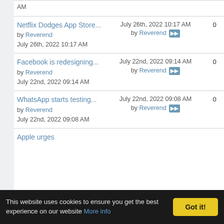| Topic | Last Post | Replies | Views |
| --- | --- | --- | --- |
| [partial] AM |  |  |  |
| Netflix Dodges App Store... by Reverend July 26th, 2022 10:17 AM | July 26th, 2022 10:17 AM by Reverend | 0 | 780 |
| Facebook is redesigning... by Reverend July 22nd, 2022 09:14 AM | July 22nd, 2022 09:14 AM by Reverend | 0 | 842 |
| WhatsApp starts testing... by Reverend July 22nd, 2022 09:08 AM | July 22nd, 2022 09:08 AM by Reverend | 0 | 757 |
| Apple urges... |  |  |  |
This website uses cookies to ensure you get the best experience on our website More info  Got it!